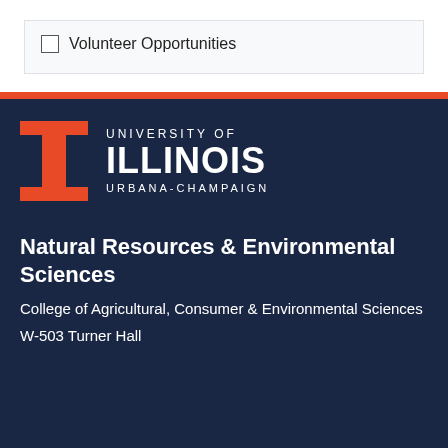Volunteer Opportunities
[Figure (logo): University of Illinois Urbana-Champaign logo with Block I and wordmark on dark navy background]
Natural Resources & Environmental Sciences
College of Agricultural, Consumer & Environmental Sciences
W-503 Turner Hall